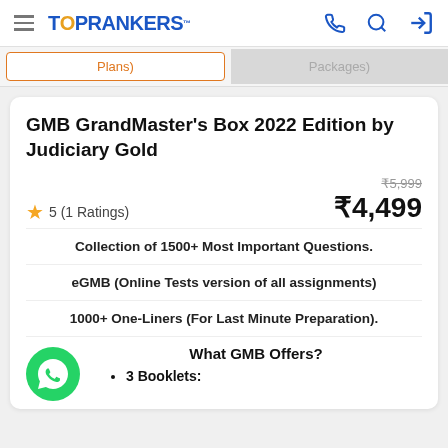TOPRANKERS
Plans) | Packages)
GMB GrandMaster's Box 2022 Edition by Judiciary Gold
★ 5 (1 Ratings)
₹5,999
₹4,499
Collection of 1500+ Most Important Questions.
eGMB (Online Tests version of all assignments)
1000+ One-Liners (For Last Minute Preparation).
What GMB Offers?
3 Booklets: